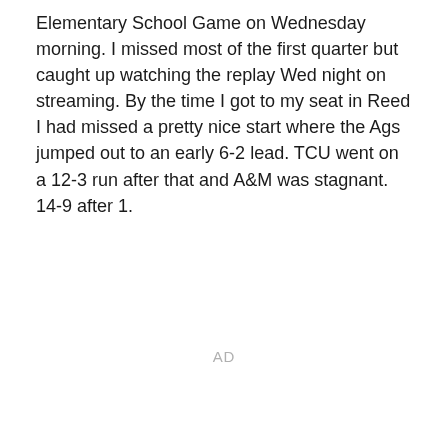Elementary School Game on Wednesday morning. I missed most of the first quarter but caught up watching the replay Wed night on streaming. By the time I got to my seat in Reed I had missed a pretty nice start where the Ags jumped out to an early 6-2 lead. TCU went on a 12-3 run after that and A&M was stagnant. 14-9 after 1.
AD